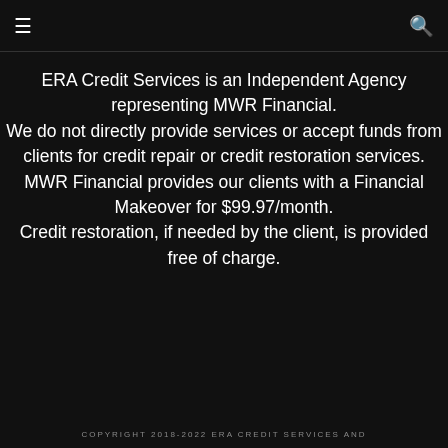☰  🔍
ERA Credit Services is an Independent Agency representing MWR Financial. We do not directly provide services or accept funds from clients for credit repair or credit restoration services. MWR Financial provides our clients with a Financial Makeover for $99.97/month. Credit restoration, if needed by the client, is provided free of charge.
COPYRIGHT 2018-2022 ERA CREDIT SERVICES AND